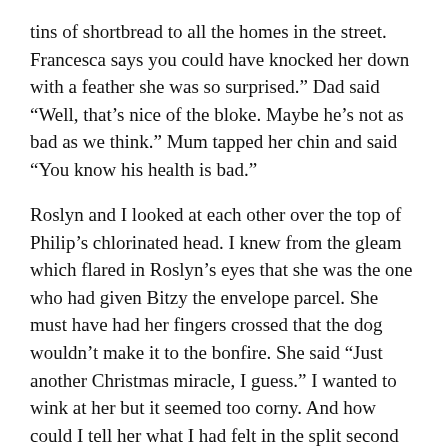tins of shortbread to all the homes in the street. Francesca says you could have knocked her down with a feather she was so surprised.”  Dad said “Well, that’s nice of the bloke.  Maybe he’s not as bad as we think.”  Mum tapped her chin and said “You know his health is bad.”
Roslyn and I looked at each other over the top of Philip’s chlorinated head.  I knew from the gleam which flared in Roslyn’s eyes that she was the one who had given Bitzy the envelope parcel.  She must have had her fingers crossed that the dog wouldn’t make it to the bonfire.  She said “Just another Christmas miracle, I guess.”  I wanted to wink at her but it seemed too corny.  And how could I tell her what I had felt in the split second beside the bonfire?  It was like I saw the world being choked by our own careless actions.  When I go back to school next year, I know I am going to be really interested in geography and social studies and definitely telling people to think about where all their rubbish goes.  Into the ground or